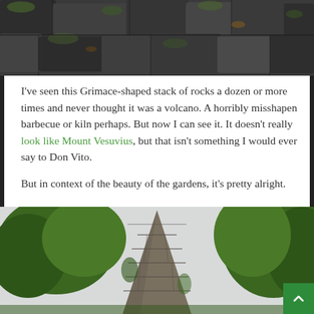[Figure (photo): Close-up of dark rough volcanic or stone rocks with some green moss/vegetation]
I've seen this Grimace-shaped stack of rocks a dozen or more times and never thought it was a volcano. A horribly misshapen barbecue or kiln perhaps. But now I can see it. It doesn't really look like Mount Vesuvius, but that isn't something I would ever say to Don Vito.
But in context of the beauty of the gardens, it's pretty alright.
[Figure (photo): A stone pyramid or stacked-rock tower structure rising among lush green trees, viewed from below against an overcast sky]